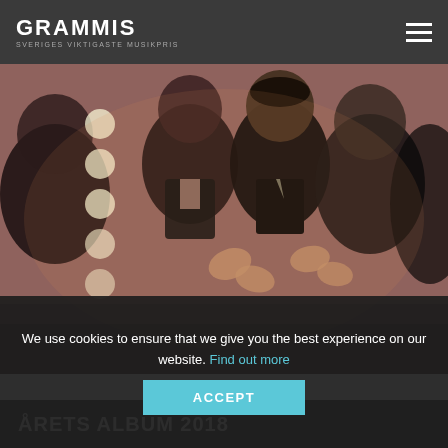GRAMMIS - Sveriges viktigaste musikpris
[Figure (photo): Crowd of people at an awards ceremony, applauding, wearing formal attire, warm indoor lighting]
2018
We use cookies to ensure that we give you the best experience on our website. Find out more
ACCEPT
ÅRETS ALBUM 2018